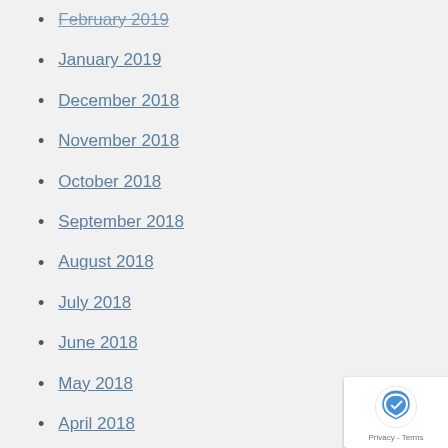February 2019
January 2019
December 2018
November 2018
October 2018
September 2018
August 2018
July 2018
June 2018
May 2018
April 2018
March 2018
February 2018
January 2018